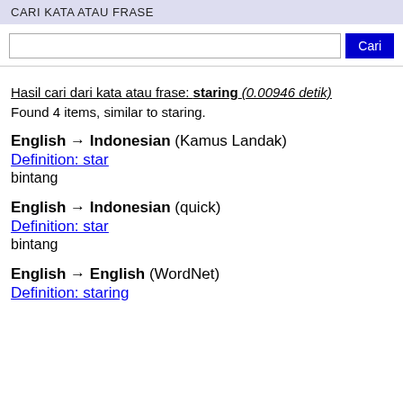CARI KATA ATAU FRASE
[Figure (screenshot): Search input field with a blue 'Cari' button]
Hasil cari dari kata atau frase: staring (0.00946 detik)
Found 4 items, similar to staring.
English → Indonesian (Kamus Landak)
Definition: star
bintang
English → Indonesian (quick)
Definition: star
bintang
English → English (WordNet)
Definition: staring